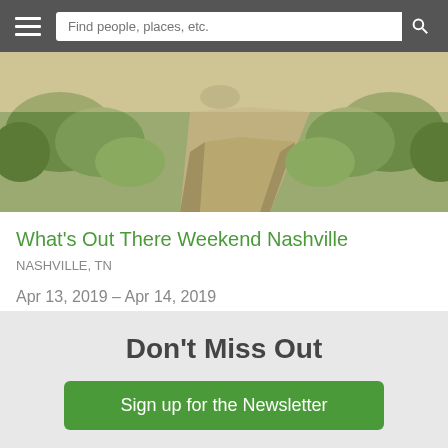[Figure (photo): Aerial view of a road/path through greenery and landscape, hero image for Nashville event page]
What's Out There Weekend Nashville
NASHVILLE, TN
Apr 13, 2019 – Apr 14, 2019
» See all related
Don't Miss Out
Sign up for the Newsletter